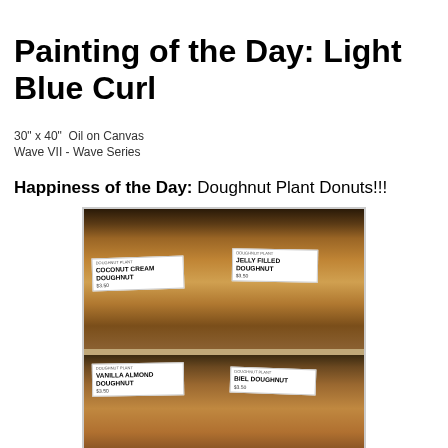Painting of the Day: Light Blue Curl
30" x 40"  Oil on Canvas
Wave VII - Wave Series
Happiness of the Day: Doughnut Plant Donuts!!!
[Figure (photo): Photo of stacked square doughnuts from Doughnut Plant on display shelves with label signs: Coconut Cream Doughnut, Jelly Filled Doughnut, Vanilla Almond Doughnut, and Biel Doughnut]